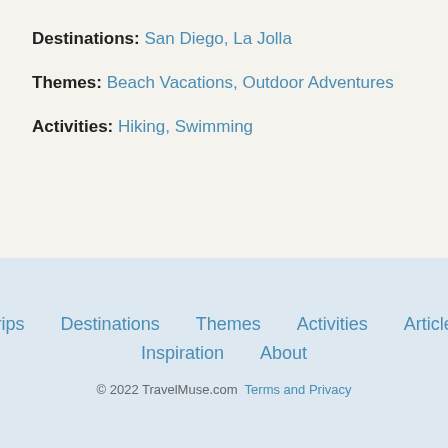Destinations: San Diego, La Jolla
Themes: Beach Vacations, Outdoor Adventures
Activities: Hiking, Swimming
Trips  Destinations  Themes  Activities  Articles  Inspiration  About  © 2022 TravelMuse.com  Terms and Privacy